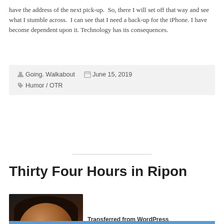have the address of the next pick-up.  So, there I will set off that way and see what I stumble across.  I can see that I need a back-up for the iPhone. I have become dependent upon it. Technology has its consequences.
Going. Walkabout   June 15, 2019   Humor / OTR
Thirty Four Hours in Ripon
[Figure (photo): Close-up photo of a middle-aged man with a beard in a dark setting]
Transferred from WordPress